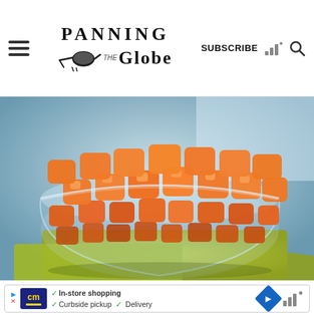Panning The Globe — SUBSCRIBE
[Figure (photo): A glass bowl filled with diced orange sweet potatoes, sitting on a green cutting board, with a blurred blue-green background.]
[Figure (infographic): Advertisement bar: CM logo, checkmarks for In-store shopping, Curbside pickup, Delivery, blue diamond navigation icon.]